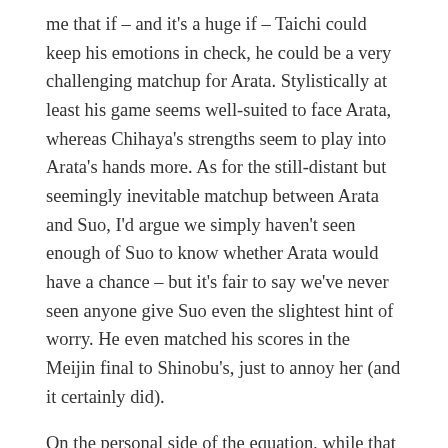me that if – and it's a huge if – Taichi could keep his emotions in check, he could be a very challenging matchup for Arata. Stylistically at least his game seems well-suited to face Arata, whereas Chihaya's strengths seem to play into Arata's hands more. As for the still-distant but seemingly inevitable matchup between Arata and Suo, I'd argue we simply haven't seen enough of Suo to know whether Arata would have a chance – but it's fair to say we've never seen anyone give Suo even the slightest hint of worry. He even matched his scores in the Meijin final to Shinobu's, just to annoy her (and it certainly did).
On the personal side of the equation, while that can never be separated from the Karuta in this series, it remained solidly in the background for one more week. There are crucial moments, the first of which is when Chihaya breathlessly declares Taichi a rival. It's easy to see in his reaction just how important that is for him, and easy to see why if you've been watching the series. I honestly don't feel all that much at Sumire's heartbroken reaction at seeing Chihaya and Taichi run off hand-in-hand, because there's not